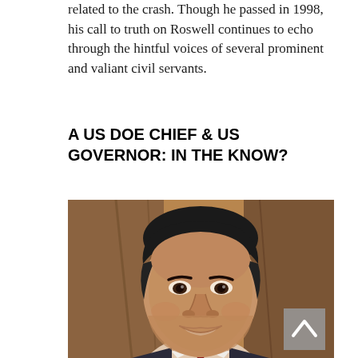related to the crash. Though he passed in 1998, his call to truth on Roswell continues to echo through the hintful voices of several prominent and valiant civil servants.
A US DOE CHIEF & US GOVERNOR: IN THE KNOW?
[Figure (photo): Portrait photo of a middle-aged man with dark hair, smiling, wearing a dark suit and red tie, with a warm brown wooden background. A scroll-to-top button with a caret/arrow icon is overlaid in the lower right corner of the image.]